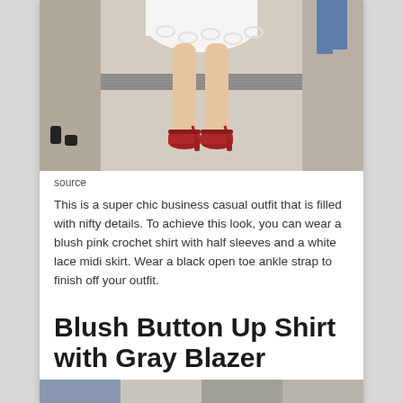[Figure (photo): Cropped photo showing legs of a woman wearing a white lace midi skirt and red high-heeled ankle strap sandals, standing on a street pavement. Another person in black shoes is partially visible on the left.]
source
This is a super chic business casual outfit that is filled with nifty details. To achieve this look, you can wear a blush pink crochet shirt with half sleeves and a white lace midi skirt. Wear a black open toe ankle strap to finish off your outfit.
Blush Button Up Shirt with Gray Blazer
[Figure (photo): Bottom portion of another fashion outfit photo, partially visible at the bottom of the page.]